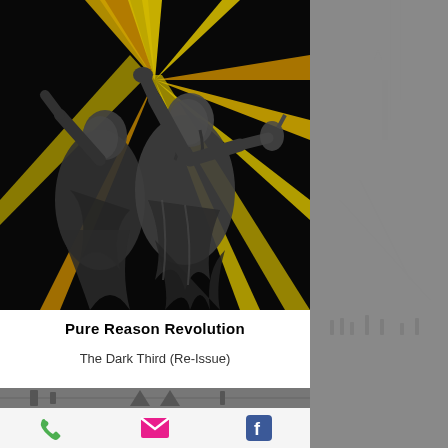[Figure (illustration): Album art for Pure Reason Revolution - The Dark Third (Re-Issue). Black and white sculpture/statue imagery with dramatic yellow and orange diagonal light beams radiating outward against a dark background.]
Pure Reason Revolution
The Dark Third (Re-Issue)
[Figure (photo): Partial view of another album or image below, showing black and white imagery.]
[Figure (photo): Side panel showing grayscale background with faint imagery of structures or figures.]
[Figure (infographic): Bottom navigation bar with three icons: green phone icon, pink/red email envelope icon, blue Facebook icon.]